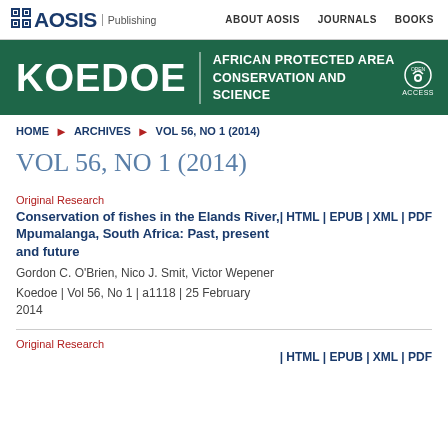AOSIS Publishing | ABOUT AOSIS | JOURNALS | BOOKS
[Figure (logo): KOEDOE African Protected Area Conservation and Science banner with green background and open access logo]
HOME ▶ ARCHIVES ▶ VOL 56, NO 1 (2014)
VOL 56, NO 1 (2014)
Original Research
Conservation of fishes in the Elands River, Mpumalanga, South Africa: Past, present and future
Gordon C. O'Brien, Nico J. Smit, Victor Wepener
Koedoe | Vol 56, No 1 | a1118 | 25 February 2014
| HTML | EPUB | XML | PDF
Original Research
| HTML | EPUB | XML | PDF